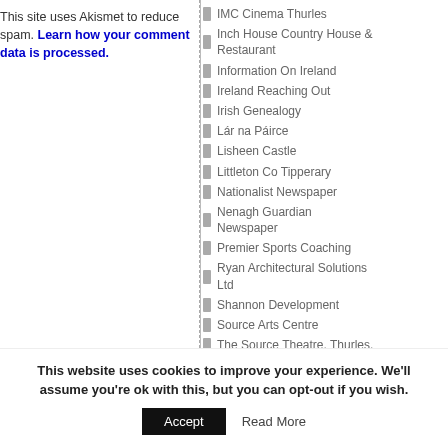This site uses Akismet to reduce spam. Learn how your comment data is processed.
IMC Cinema Thurles
Inch House Country House & Restaurant
Information On Ireland
Ireland Reaching Out
Irish Genealogy
Lár na Páirce
Lisheen Castle
Littleton Co Tipperary
Nationalist Newspaper
Nenagh Guardian Newspaper
Premier Sports Coaching
Ryan Architectural Solutions Ltd
Shannon Development
Source Arts Centre
The Source Theatre, Thurles.
Thurles Credit Union
Thurles Leisure Centre
Thurles Lions Club
This website uses cookies to improve your experience. We'll assume you're ok with this, but you can opt-out if you wish.
Accept
Read More